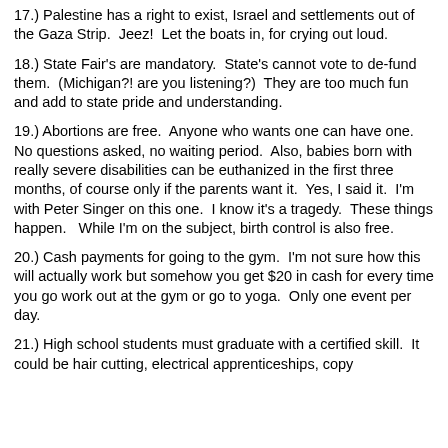17.) Palestine has a right to exist, Israel and settlements out of the Gaza Strip.  Jeez!  Let the boats in, for crying out loud.
18.) State Fair's are mandatory.  State's cannot vote to defund them.  (Michigan?! are you listening?)  They are too much fun and add to state pride and understanding.
19.) Abortions are free.  Anyone who wants one can have one.  No questions asked, no waiting period.  Also, babies born with really severe disabilities can be euthanized in the first three months, of course only if the parents want it.  Yes, I said it.  I'm with Peter Singer on this one.  I know it's a tragedy.  These things happen.   While I'm on the subject, birth control is also free.
20.) Cash payments for going to the gym.  I'm not sure how this will actually work but somehow you get $20 in cash for every time you go work out at the gym or go to yoga.  Only one event per day.
21.) High school students must graduate with a certified skill.  It could be hair cutting, electrical apprenticeships, copy